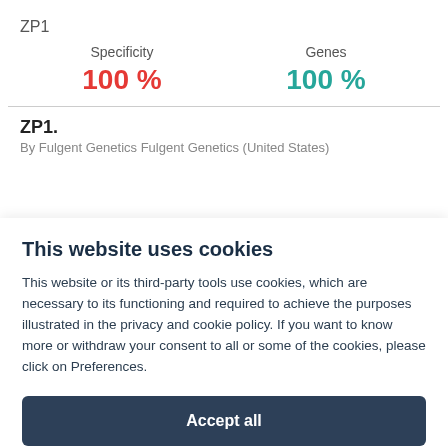ZP1
| Specificity | Genes |
| --- | --- |
| 100 % | 100 % |
ZP1.
By Fulgent Genetics Fulgent Genetics (United States)
This website uses cookies
This website or its third-party tools use cookies, which are necessary to its functioning and required to achieve the purposes illustrated in the privacy and cookie policy. If you want to know more or withdraw your consent to all or some of the cookies, please click on Preferences.
Accept all
Preferences